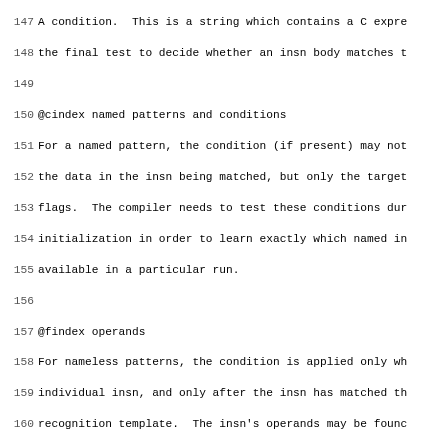147 A condition.  This is a string which contains a C expre
148 the final test to decide whether an insn body matches t
149 
150 @cindex named patterns and conditions
151 For a named pattern, the condition (if present) may not
152 the data in the insn being matched, but only the target
153 flags.  The compiler needs to test these conditions dur
154 initialization in order to learn exactly which named in
155 available in a particular run.
156 
157 @findex operands
158 For nameless patterns, the condition is applied only wh
159 individual insn, and only after the insn has matched th
160 recognition template.  The insn's operands may be founc
161 @code{operands}.  For an insn where the condition has c
162 can't be used to control register allocation, for examp
163 certain hard registers or hard register combinations.
164 
165 @item
166 The @dfn{output template}: a string that says how to ou
167 insns as assembler code.  @samp{%} in this string speci
168 to substitute the value of an operand.  @xref{Output Te
169 
170 When simple substitution isn't general enough, you can
171 of C code to compute the output.  @xref{Output Statemer
172 
173 @item
174 Optionally, a vector containing the values of attribute
175 this pattern.  @xref{Insn Attributes}.
176 @end enumerate
177 
178 @node Example